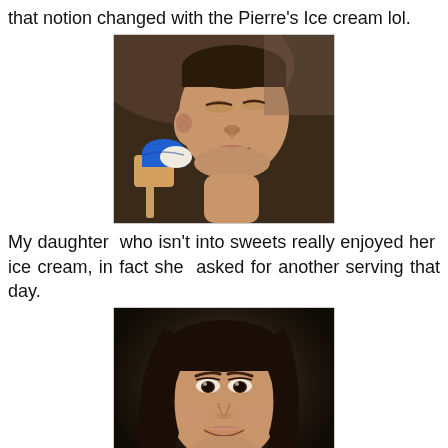that notion changed with the Pierre's Ice cream lol.
[Figure (photo): A young boy looking down at a colorful ice cream bar (blue and tan/cream colored) he is holding, shirtless, with dark short hair, smiling slightly.]
My daughter who isn't into sweets really enjoyed her ice cream, in fact she asked for another serving that day.
[Figure (photo): A young girl with long dark hair, smiling at the camera, holding a small pink and green ice cream in her hand, wearing a light gray shirt.]